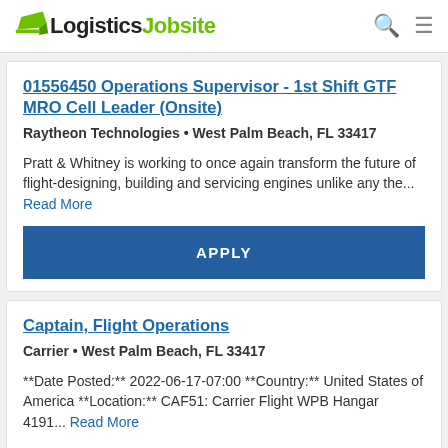LogisticsJobsite
01556450 Operations Supervisor - 1st Shift GTF MRO Cell Leader (Onsite)
Raytheon Technologies • West Palm Beach, FL 33417
Pratt & Whitney is working to once again transform the future of flight-designing, building and servicing engines unlike any the... Read More
APPLY
Captain, Flight Operations
Carrier • West Palm Beach, FL 33417
**Date Posted:** 2022-06-17-07:00 **Country:** United States of America **Location:** CAF51: Carrier Flight WPB Hangar 4191... Read More